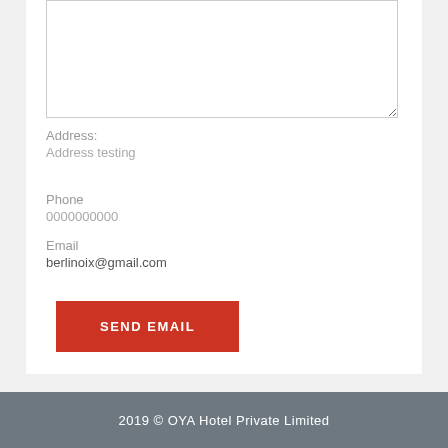Address:
Address testing
Phone
0000000000
Email
berlinoix@gmail.com
SEND EMAIL
2019 © OYA Hotel Private Limited